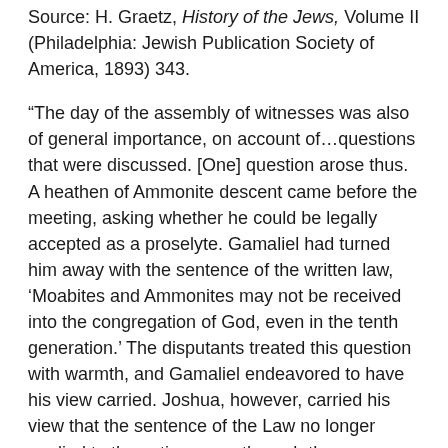Source: H. Graetz, History of the Jews, Volume II (Philadelphia: Jewish Publication Society of America, 1893) 343.
“The day of the assembly of witnesses was also of general importance, on account of…questions that were discussed. [One] question arose thus. A heathen of Ammonite descent came before the meeting, asking whether he could be legally accepted as a proselyte. Gamaliel had turned him away with the sentence of the written law, ‘Moabites and Ammonites may not be received into the congregation of God, even in the tenth generation.’ The disputants treated this question with warmth, and Gamaliel endeavored to have his view carried. Joshua, however, carried his view that the sentence of the Law no longer applied to those times, as, through the aggressions of their conquerors, all nations